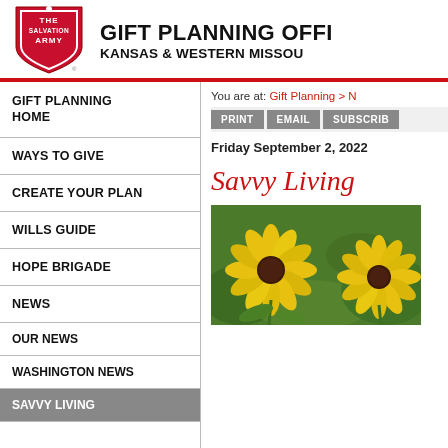GIFT PLANNING OFFICE KANSAS & WESTERN MISSOURI
GIFT PLANNING HOME
WAYS TO GIVE
CREATE YOUR PLAN
WILLS GUIDE
HOPE BRIGADE
NEWS
OUR NEWS
WASHINGTON NEWS
SAVVY LIVING
You are at: Gift Planning > N...
PRINT   EMAIL   SUBSCRIBE
Friday September 2, 2022
Savvy Living
[Figure (photo): Yellow black-eyed Susan flowers with dark centers against green foliage background]